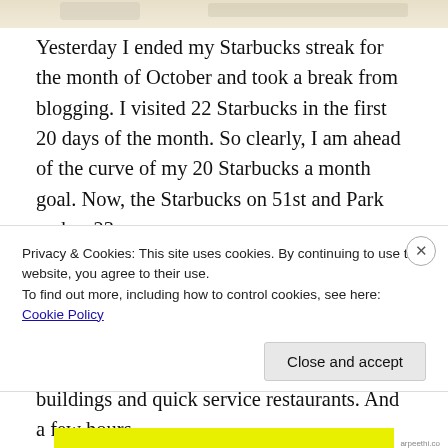[Figure (photo): Partial image visible at top of page, appears to be a faded/washed out photo]
Yesterday I ended my Starbucks streak for the month of October and took a break from blogging. I visited 22 Starbucks in the first 20 days of the month. So clearly, I am ahead of the curve of my 20 Starbucks a month goal. Now, the Starbucks on 51st and Park makes 23.
Specifically, this Starbucks is located between Park and Madison inside a small courtyard to an office building. Actually, that’s really all there is around here: office buildings and quick service restaurants. And a few hours
Privacy & Cookies: This site uses cookies. By continuing to use this website, you agree to their use.
To find out more, including how to control cookies, see here: Cookie Policy